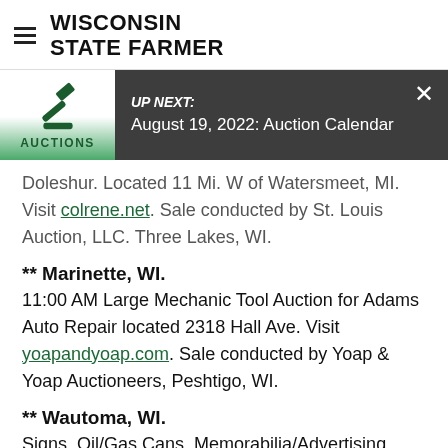WISCONSIN STATE FARMER
[Figure (other): Up Next banner with auction gavel logo, green gradient box labeled AUCTIONS, dark gray background. Text: UP NEXT: August 19, 2022: Auction Calendar, with X close button.]
Doleshur. Located 11 Mi. W of Watersmeet, MI. Visit colrene.net. Sale conducted by St. Louis Auction, LLC. Three Lakes, WI.
** Marinette, WI.
11:00 AM Large Mechanic Tool Auction for Adams Auto Repair located 2318 Hall Ave. Visit yoapandyoap.com. Sale conducted by Yoap & Yoap Auctioneers, Peshtigo, WI.
** Wautoma, WI.
Signs, Oil/Gas Cans, Memorabilia/Advertising, Antiques/Collectibles & More Located at N2475